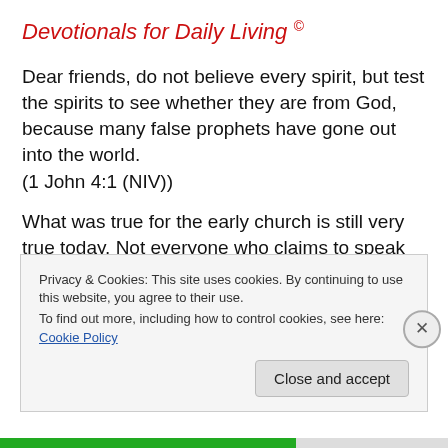Devotionals for Daily Living ©
Dear friends, do not believe every spirit, but test the spirits to see whether they are from God, because many false prophets have gone out into the world.
(1 John 4:1 (NIV))
What was true for the early church is still very true today. Not everyone who claims to speak the truth is actually speaking the truth as God and Jesus have established it. Many people will distort the truth for their own gain. Some
Privacy & Cookies: This site uses cookies. By continuing to use this website, you agree to their use.
To find out more, including how to control cookies, see here: Cookie Policy
Close and accept